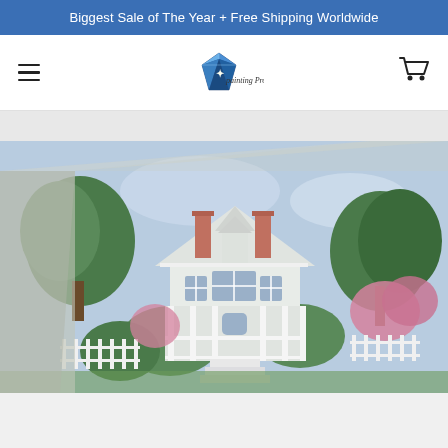Biggest Sale of The Year + Free Shipping Worldwide
[Figure (logo): Diamond Painting Pro logo with diamond gem icon and script text]
[Figure (illustration): Paint-by-numbers style canvas painting of a Victorian white house surrounded by lush green trees and pink flowering shrubs under a blue sky]